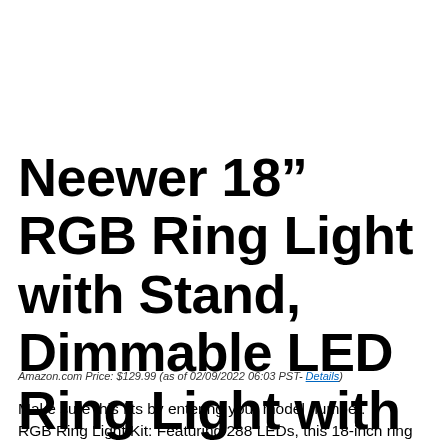Neewer 18” RGB Ring Light with Stand, Dimmable LED Ring Light with Phone Holder/Bi-Color 3200K–5600K/97+ CRI/0-360° Full…
Amazon.com Price: $129.99 (as of 02/09/2022 06:03 PST- Details)
Make sure this fits by entering your model number. RGB Ring Light Kit: Featuring 288 LEDs, this 18-inch ring light